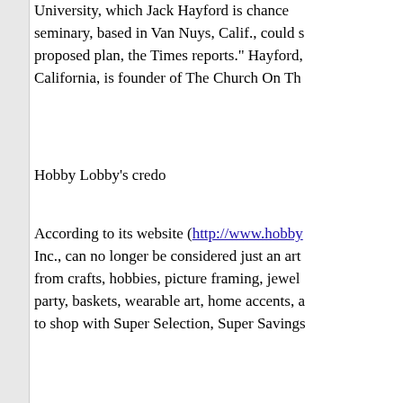University, which Jack Hayford is chance seminary, based in Van Nuys, Calif., could s proposed plan, the Times reports." Hayford, California, is founder of The Church On Th
Hobby Lobby's credo
According to its website (http://www.hobby Inc., can no longer be considered just an art from crafts, hobbies, picture framing, jewel party, baskets, wearable art, home accents, a to shop with Super Selection, Super Savings
First amongst Hobby Lobby's five-point "St do by operating the company in a manner co company also is "committed to":  "Offering value"; "Serving our employees and their fa company policies that build character, stren "Providing a return on the owners' investme employees, and investing in our community
And it "believe[s] that it is by God's grace a